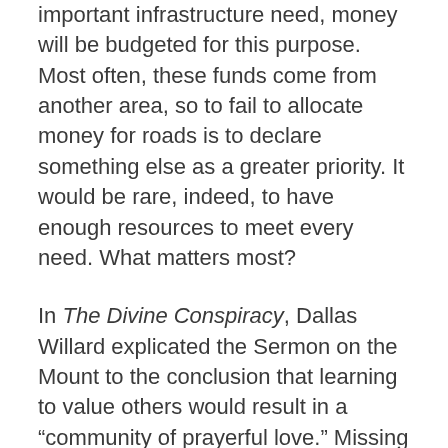important infrastructure need, money will be budgeted for this purpose. Most often, these funds come from another area, so to fail to allocate money for roads is to declare something else as a greater priority. It would be rare, indeed, to have enough resources to meet every need. What matters most?
In The Divine Conspiracy, Dallas Willard explicated the Sermon on the Mount to the conclusion that learning to value others would result in a "community of prayerful love." Missing the gospel for the gospel of sin management resulted in the lack of both prayer and love. Sometimes priorities are dependent upon one another.
Everyone sets priorities—intentionally or unintentionally. Couples, cities, and communities reveal what is important when they express their